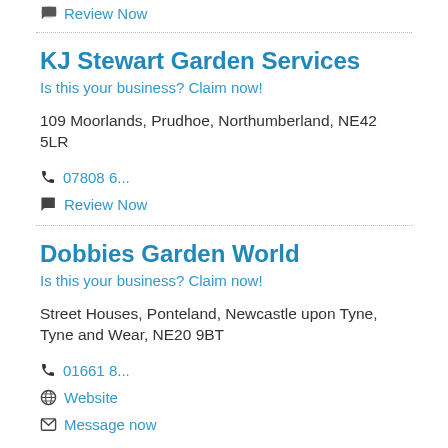Review Now
KJ Stewart Garden Services
Is this your business? Claim now!
109 Moorlands, Prudhoe, Northumberland, NE42 5LR
07808 6...
Review Now
Dobbies Garden World
Is this your business? Claim now!
Street Houses, Ponteland, Newcastle upon Tyne, Tyne and Wear, NE20 9BT
01661 8...
Website
Message now